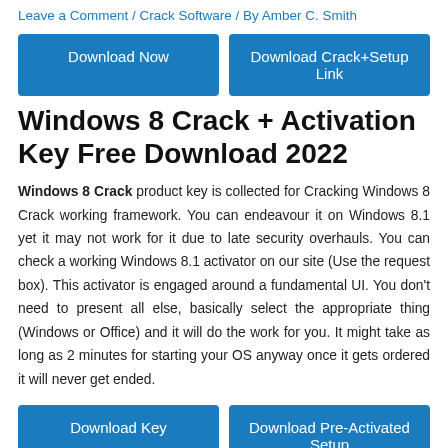Leave a Comment / Crack Software / By Amber C. Smith
[Figure (other): Two blue download buttons: 'Download Now' and 'Download Crack+Setup Link']
Windows 8 Crack + Activation Key Free Download 2022
Windows 8 Crack product key is collected for Cracking Windows 8 Crack working framework. You can endeavour it on Windows 8.1 yet it may not work for it due to late security overhauls. You can check a working Windows 8.1 activator on our site (Use the request box). This activator is engaged around a fundamental UI. You don’t need to present all else, basically select the appropriate thing (Windows or Office) and it will do the work for you. It might take as long as 2 minutes for starting your OS anyway once it gets ordered it will never get ended.
[Figure (other): Two blue download buttons: 'Download Key' and 'Download Pre-Activated Setup']